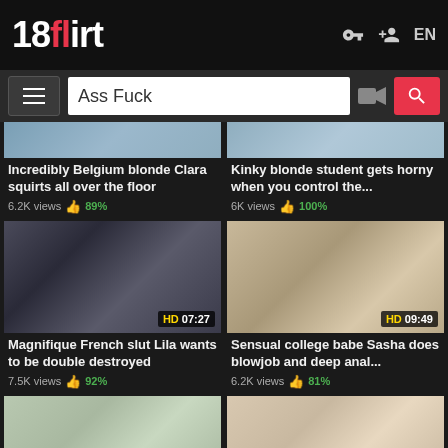18flirt
Ass Fuck
Incredibly Belgium blonde Clara squirts all over the floor — 6.2K views 89%
Kinky blonde student gets horny when you control the... — 6K views 100%
[Figure (screenshot): Video thumbnail with HD badge showing 07:27]
Magnifique French slut Lila wants to be double destroyed — 7.5K views 92%
[Figure (screenshot): Video thumbnail with HD badge showing 09:49]
Sensual college babe Sasha does blowjob and deep anal... — 6.2K views 81%
[Figure (screenshot): Partial video thumbnail bottom row left]
[Figure (screenshot): Partial video thumbnail bottom row right]